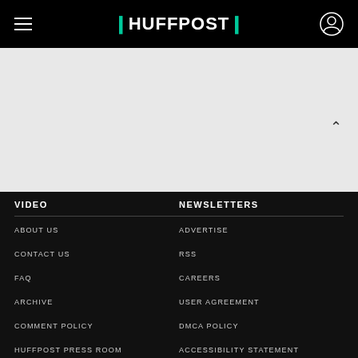HUFFPOST
VIDEO
NEWSLETTERS
ABOUT US
ADVERTISE
CONTACT US
RSS
FAQ
CAREERS
ARCHIVE
USER AGREEMENT
COMMENT POLICY
DMCA POLICY
HUFFPOST PRESS ROOM
ACCESSIBILITY STATEMENT
PRIVACY POLICY
CONSENT PREFERENCES
DO NOT SELL MY PERSONAL INFORMATION
Part of HuffPost Politics. ©2022 BuzzFeed, Inc. All rights reserved. The Huffington Post